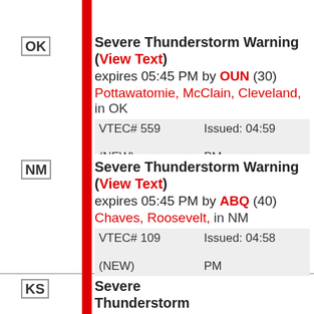OK | Severe Thunderstorm Warning (View Text) expires 05:45 PM by OUN (30) Pottawatomie, McClain, Cleveland, in OK VTEC# 559 (NEW) Issued: 04:59 PM Updated: 04:59 PM
NM | Severe Thunderstorm Warning (View Text) expires 05:45 PM by ABQ (40) Chaves, Roosevelt, in NM VTEC# 109 (NEW) Issued: 04:58 PM Updated: 04:58 PM
KS | Severe Thunderstorm Warning (View Text) expires 05:45 PM by ICT (CUELLAR) Ellsworth, Russell, Barton, in KS VTEC# 195 (NEW) Issued: 04:58 PM Updated: 04:58 PM